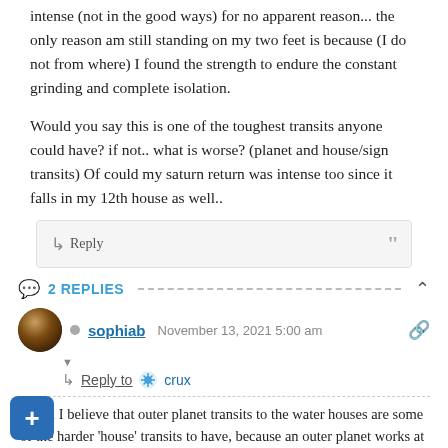intense (not in the good ways) for no apparent reason... the only reason am still standing on my two feet is because (I do not from where) I found the strength to endure the constant grinding and complete isolation.
Would you say this is one of the toughest transits anyone could have? if not.. what is worse? (planet and house/sign transits) Of could my saturn return was intense too since it falls in my 12th house as well..
↳ Reply
2 REPLIES
sophiab   November 13, 2021 5:00 am
↳ Reply to crux
@vdn I believe that outer planet transits to the water houses are some of the harder 'house' transits to have, because an outer planet works at the unconscious level and the energy of the water houses also operates at a more unconscious level, so it's like a double whammy of very deeply affecting change which is hard to understand at a conscious level and its the confusion that causes us